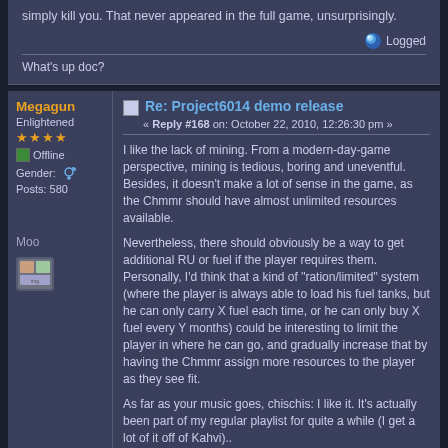simply kill you. That never appeared in the full game, unsurprisingly.
Logged
What's up doc?
Re: Project6014 demo release
« Reply #168 on: October 22, 2010, 12:26:30 pm »
Megagun
Enlightened
Offline
Gender:
Posts: 580
Moo
I like the lack of mining. From a modern-day-game perspective, mining is tedious, boring and uneventful. Besides, it doesn't make a lot of sense in the game, as the Chmmr should have almost unlimited resources available.
Nevertheless, there should obviously be a way to get additional RU or fuel if the player requires them. Personally, I'd think that a kind of "ration/limited" system (where the player is always able to load his fuel tanks, but he can only carry X fuel each time, or he can only buy X fuel every Y months) could be interesting to limit the player in where he can go, and gradually increase that by having the Chmmr assign more resources to the player as they see fit.
As far as your music goes, chischis: I like it. It's actually been part of my regular playlist for quite a while (I get a lot of it off of Kahvi)..